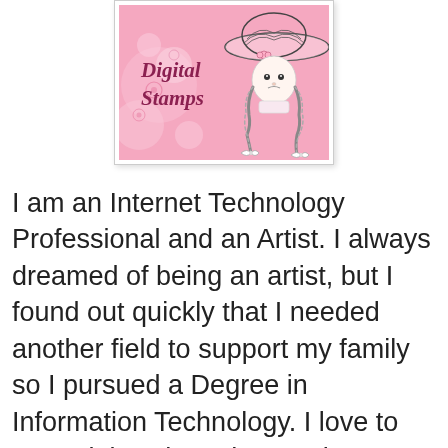[Figure (illustration): Digital Stamps logo banner featuring a cartoon girl with braids wearing a wide-brimmed hat on a pink floral background, with the text 'Digital Stamps' in italic script]
I am an Internet Technology Professional and an Artist. I always dreamed of being an artist, but I found out quickly that I needed another field to support my family so I pursued a Degree in Information Technology. I love to use Adobe Photoshop and Fireworks to enhance my work. I just recently started selling my very own digital images and I am so excited to be here sponsoring this Chall...